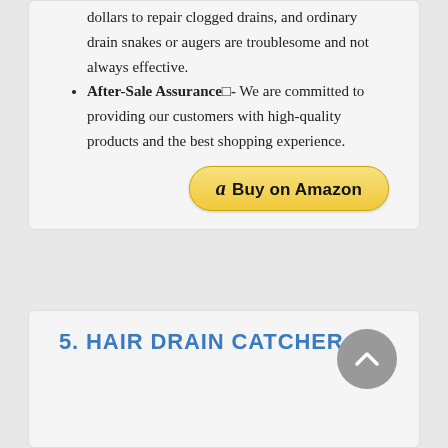dollars to repair clogged drains, and ordinary drain snakes or augers are troublesome and not always effective.
After-Sale Assurance□- We are committed to providing our customers with high-quality products and the best shopping experience.
[Figure (other): Buy on Amazon button with Amazon logo]
5. HAIR DRAIN CATCHER